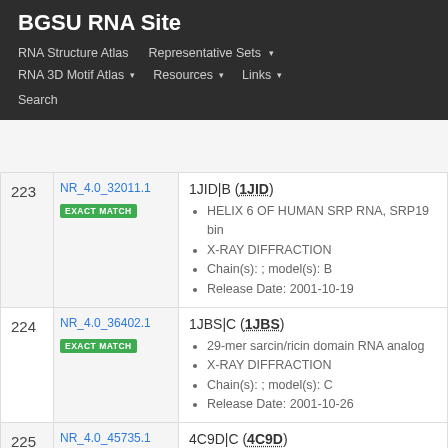BGSU RNA Site
RNA Structure Atlas | Representative Sets ▾ | RNA 3D Motif Atlas ▾ | Resources ▾ | Links ▾ | Search
| # | ID / Match | Entry Info |
| --- | --- | --- |
| 223 | NR_4.0_32011.1 EXACT MATCH | 1JID|B (1JID)
• HELIX 6 OF HUMAN SRP RNA, SRP19 bin
• X-RAY DIFFRACTION
• Chain(s): ; model(s): B
• Release Date: 2001-10-19 |
| 224 | NR_4.0_36402.1 EXACT MATCH | 1JBS|C (1JBS)
• 29-mer sarcin/ricin domain RNA analog
• X-RAY DIFFRACTION
• Chain(s): ; model(s): C
• Release Date: 2001-10-26 |
| 225 | NR_4.0_45735.1 EXACT MATCH Thermus | 4C9D|C (4C9D)
• R3 REPEAT RNA CLEAVAGE PRODUCT
• X-RAY DIFFRACTION
• Chain(s): ; model(s): C |